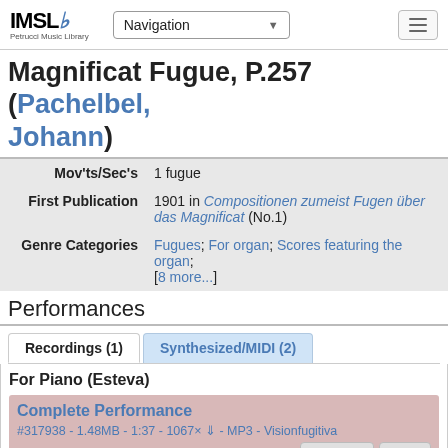IMSLP Petrucci Music Library — Navigation
Magnificat Fugue, P.257 (Pachelbel, Johann)
| Field | Value |
| --- | --- |
| Mov'ts/Sec's | 1 fugue |
| First Publication | 1901 in Compositionen zumeist Fugen über das Magnificat (No.1) |
| Genre Categories | Fugues; For organ; Scores featuring the organ; [8 more...] |
Performances
Recordings (1)   Synthesized/MIDI (2)
For Piano (Esteva)
Complete Performance
#317938 - 1.48MB - 1:37 - 1067× ⇓ - MP3 - Visionfugitiva